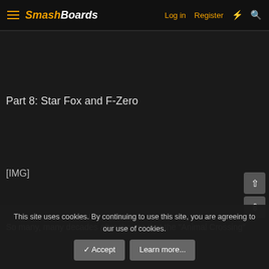SmashBoards — Log in  Register
Part 8: Star Fox and F-Zero
[Figure (other): [IMG] placeholder for an image]
So many, many decades after the era that the "Animal Crossing"
This site uses cookies. By continuing to use this site, you are agreeing to our use of cookies.